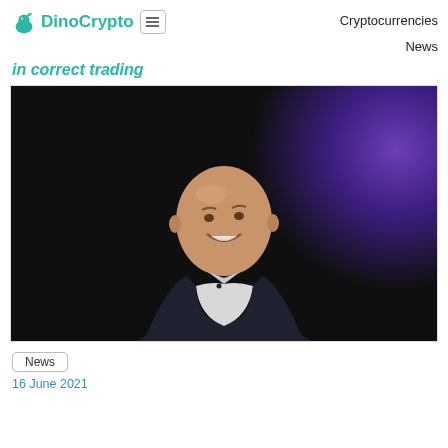DinoCrypto — Cryptocurrencies | News
in correct trading
[Figure (photo): A bald man in a dark blazer and white shirt smiling and looking upward, photographed against a dark background with purple lighting on the right side, appears to be at a conference or panel event.]
News
16 June 2021